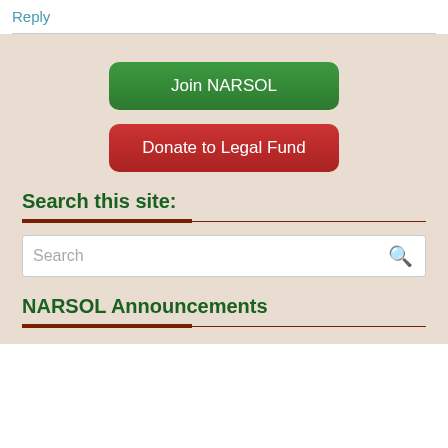Reply
[Figure (other): Green button labeled 'Join NARSOL']
[Figure (other): Red button labeled 'Donate to Legal Fund']
Search this site:
[Figure (other): Search input box with magnifying glass icon]
NARSOL Announcements